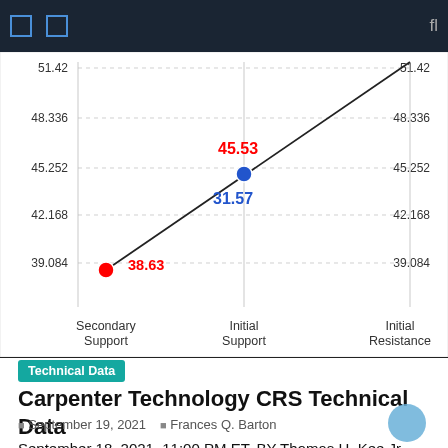[Figure (continuous-plot): Technical chart showing a diagonal trend line from Secondary Support (38.63) to Initial Resistance. Two data points are marked: a red dot at Secondary Support (~38.63) and a blue dot at Initial Support (~45.53/31.57). Y-axis labels: 51.42, 48.336, 45.252, 42.168, 39.084. X-axis labels: Secondary Support, Initial Support, Initial Resistance. Annotated values: red 45.53, blue 31.57, red 38.63.]
Technical Data
Carpenter Technology CRS Technical Data
September 19, 2021   Frances Q. Barton
September 18, 2021, 11:00 PM ET, BY Thomas H. Kee Jr – Editor-in-Chief, Stock Traders Daily | Publisher: Thomas H. Kee Jr. (Follow on LinkedIn) Source: Daily Stock Exchange Traders